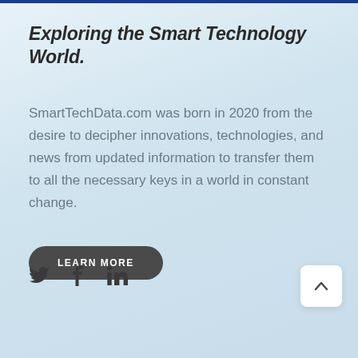Exploring the Smart Technology World.
SmartTechData.com was born in 2020 from the desire to decipher innovations, technologies, and news from updated information to transfer them to all the necessary keys in a world in constant change.
LEARN MORE
[Figure (infographic): Social media icons for Twitter (bird), Facebook (f), and LinkedIn (in)]
[Figure (infographic): Back to top button with upward chevron arrow]